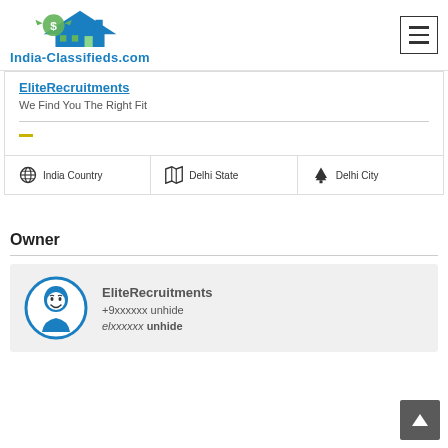India-Classifieds.com
EliteRecruitments
We Find You The Right Fit
India Country | Delhi State | Delhi City
Owner
EliteRecruitments
+9xxxxxx unhide
elxxxxxx unhide